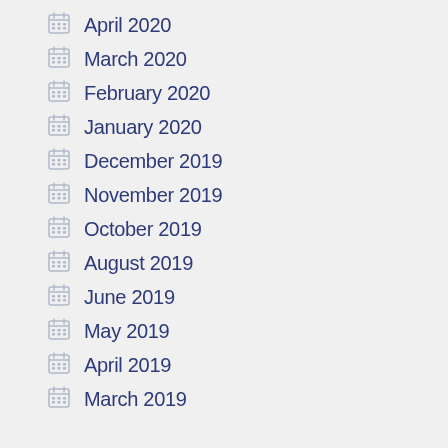April 2020
March 2020
February 2020
January 2020
December 2019
November 2019
October 2019
August 2019
June 2019
May 2019
April 2019
March 2019